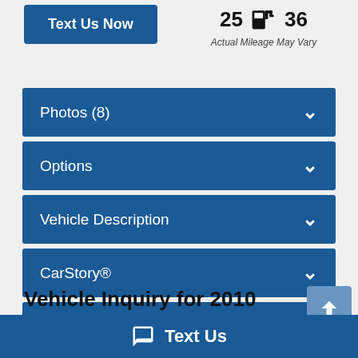[Figure (other): Text Us Now button (blue rectangle)]
25  [fuel pump icon]  36
Actual Mileage May Vary
Photos (8)
Options
Vehicle Description
CarStory®
Vehicle Inquiry
Vehicle Inquiry for 2010 Honda Civic Sdn 4dr Auto LX
[Figure (other): Scroll to top button (blue with up arrow)]
Text Us